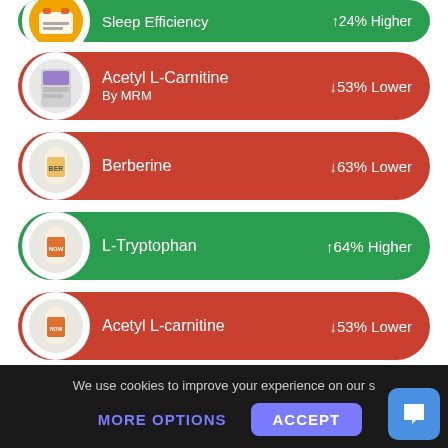[Figure (infographic): Green pill-shaped card (partially visible at top) showing 'Sleep Efficiency' with '↑24% Higher']
[Figure (infographic): Red pill-shaped card showing 'Acetyl L-Carnitine By MRM' with '↓53% Lower']
[Figure (infographic): Red pill-shaped card showing 'Berberine' with '↓63% Lower']
[Figure (infographic): Green pill-shaped card showing 'L-Tryptophan' with '↑64% Higher']
[Figure (infographic): Red pill-shaped card showing 'Acetyl L-carnitine' with '↓53% Lower']
[Figure (infographic): Green pill-shaped card (partially visible at bottom) showing 'Sugar (g)' with '↑160% Higher']
We use cookies to improve your experience on our s
MORE OPTIONS
ACCEPT